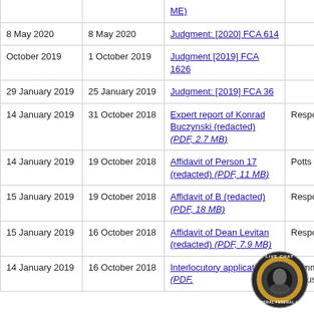| Date filed | Date of document | Document | Filed by |
| --- | --- | --- | --- |
|  |  | [ME] |  |
| 8 May 2020 | 8 May 2020 | Judgment: [2020] FCA 614 |  |
| October 2019 | 1 October 2019 | Judgment [2019] FCA 1626 |  |
| 29 January 2019 | 25 January 2019 | Judgment: [2019] FCA 36 |  |
| 14 January 2019 | 31 October 2018 | Expert report of Konrad Buczynski (redacted) (PDF, 2.7 MB) | Respondent |
| 14 January 2019 | 19 October 2018 | Affidavit of Person 17 (redacted) (PDF, 11 MB) | Potts Lawyers |
| 15 January 2019 | 19 October 2018 | Affidavit of B (redacted) (PDF, 18 MB) | Respondent |
| 15 January 2019 | 16 October 2018 | Affidavit of Dean Levitan (redacted) (PDF, 7.9 MB) | Respondent |
| 14 January 2019 | 16 October 2018 | Interlocutory application (PDF, | Commonwealth of Australia |